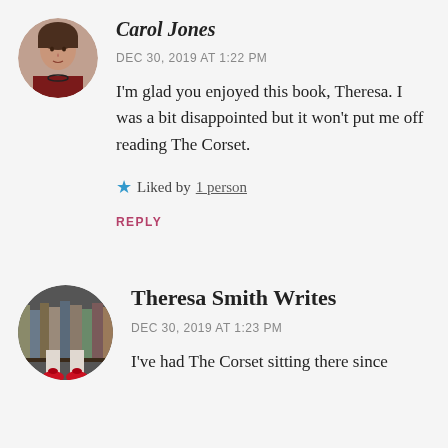[Figure (photo): Circular avatar photo of Carol Jones, a woman with dark hair and a necklace, wearing a dark red top.]
Carol Jones
DEC 30, 2019 AT 1:22 PM
I'm glad you enjoyed this book, Theresa. I was a bit disappointed but it won't put me off reading The Corset.
★ Liked by 1 person
REPLY
[Figure (photo): Circular avatar photo of Theresa Smith Writes, showing legs wearing red shoes against a bookshelf background.]
Theresa Smith Writes
DEC 30, 2019 AT 1:23 PM
I've had The Corset sitting there since